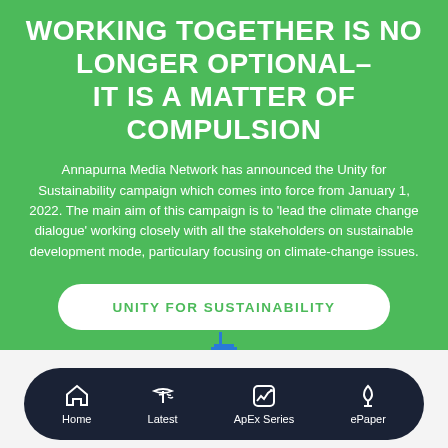WORKING TOGETHER IS NO LONGER OPTIONAL– IT IS A MATTER OF COMPULSION
Annapurna Media Network has announced the Unity for Sustainability campaign which comes into force from January 1, 2022. The main aim of this campaign is to 'lead the climate change dialogue' working closely with all the stakeholders on sustainable development mode, particulary focusing on climate-change issues.
[Figure (infographic): Green button/call-to-action reading UNITY FOR SUSTAINABILITY]
[Figure (infographic): Mobile app navigation bar with icons: Home, Latest, ApEx Series, ePaper on dark navy background]